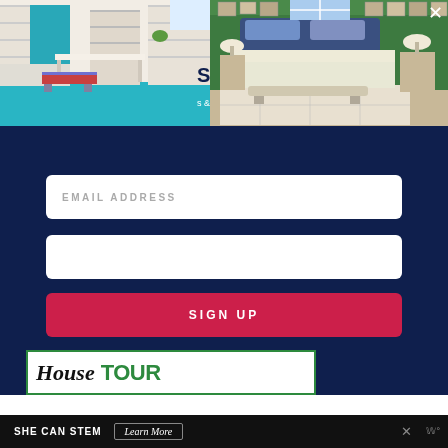[Figure (photo): Two room photos side by side: left shows a craft room with teal shelving, white table, and colorful bench; right shows a bedroom with green walls, upholstered headboard, white bed linens, and patterned rug.]
[Figure (screenshot): Dark navy email sign-up modal overlay with EMAIL ADDRESS input field, a second blank input field, and a red SIGN UP button.]
EMAIL ADDRESS
SIGN UP
[Figure (logo): House Tour logo with black italic serif 'House' and green bold sans 'TOUR' inside a green-bordered white box]
SHE CAN STEM
Learn More